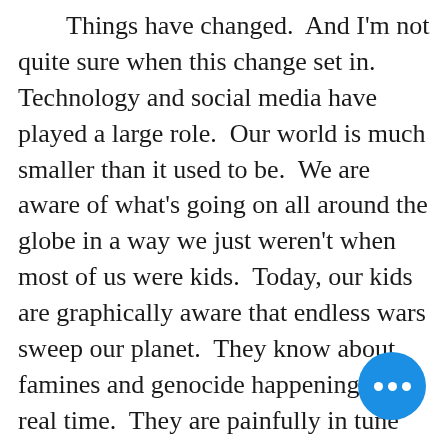Things have changed.  And I'm not quite sure when this change set in.  Technology and social media have played a large role.  Our world is much smaller than it used to be.  We are aware of what's going on all around the globe in a way we just weren't when most of us were kids.  Today, our kids are graphically aware that endless wars sweep our planet.  They know about famines and genocide happening in real time.  They are painfully in tune with gun violence in schools.  They see and hear about the natural disasters unfolding at unprecedented rates.  I was so sad that hours afte country learned about the U.S. airstrike that killed Iranian general